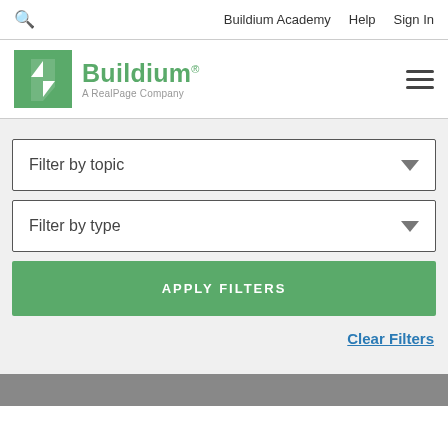🔍  Buildium Academy  Help  Sign In
[Figure (logo): Buildium logo — green square with white arrow/flag icon, green text 'Buildium®' with tagline 'A RealPage Company']
Filter by topic
Filter by type
APPLY FILTERS
Clear Filters